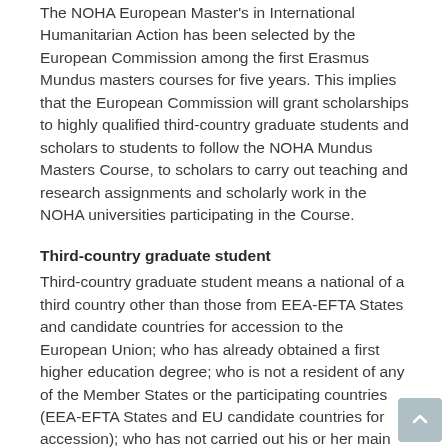The NOHA European Master's in International Humanitarian Action has been selected by the European Commission among the first Erasmus Mundus masters courses for five years. This implies that the European Commission will grant scholarships to highly qualified third-country graduate students and scholars to students to follow the NOHA Mundus Masters Course, to scholars to carry out teaching and research assignments and scholarly work in the NOHA universities participating in the Course.
Third-country graduate student
Third-country graduate student means a national of a third country other than those from EEA-EFTA States and candidate countries for accession to the European Union; who has already obtained a first higher education degree; who is not a resident of any of the Member States or the participating countries (EEA-EFTA States and EU candidate countries for accession); who has not carried out his or her main activity (studies, work, etc.) for more than a total of 12 months over the last five years in any of the Member States or the participating